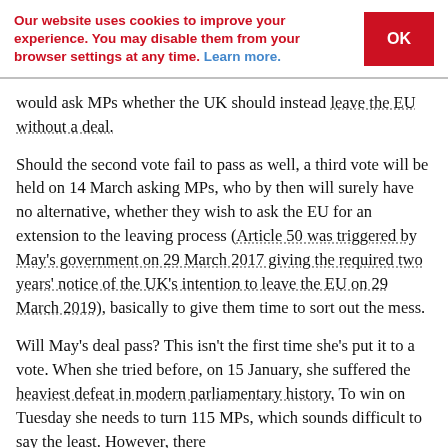Our website uses cookies to improve your experience. You may disable them from your browser settings at any time. Learn more.
would ask MPs whether the UK should instead leave the EU without a deal.
Should the second vote fail to pass as well, a third vote will be held on 14 March asking MPs, who by then will surely have no alternative, whether they wish to ask the EU for an extension to the leaving process (Article 50 was triggered by May's government on 29 March 2017 giving the required two years' notice of the UK's intention to leave the EU on 29 March 2019), basically to give them time to sort out the mess.
Will May's deal pass? This isn't the first time she's put it to a vote. When she tried before, on 15 January, she suffered the heaviest defeat in modern parliamentary history. To win on Tuesday she needs to turn 115 MPs, which sounds difficult to say the least. However, there